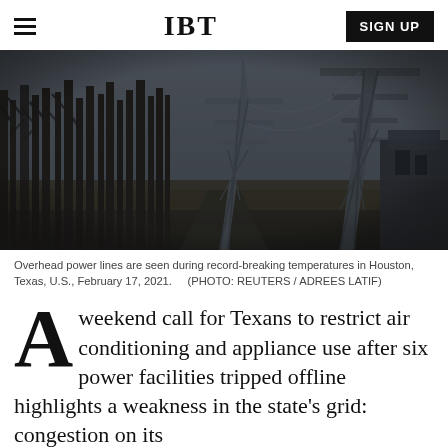IBT  SIGN UP
[Figure (photo): Dark moody photo of overhead power line transmission towers along a road lined with bare trees in Houston, Texas during winter storm, overcast sky]
Overhead power lines are seen during record-breaking temperatures in Houston, Texas, U.S., February 17, 2021.    (PHOTO: REUTERS / ADREES LATIF)
A weekend call for Texans to restrict air conditioning and appliance use after six power facilities tripped offline highlights a weakness in the state's grid: congestion on its